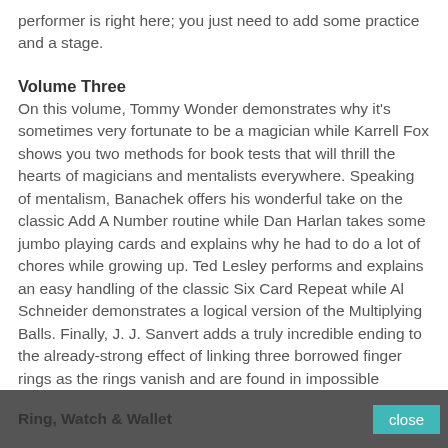performer is right here; you just need to add some practice and a stage.
Volume Three
On this volume, Tommy Wonder demonstrates why it's sometimes very fortunate to be a magician while Karrell Fox shows you two methods for book tests that will thrill the hearts of magicians and mentalists everywhere. Speaking of mentalism, Banachek offers his wonderful take on the classic Add A Number routine while Dan Harlan takes some jumbo playing cards and explains why he had to do a lot of chores while growing up. Ted Lesley performs and explains an easy handling of the classic Six Card Repeat while Al Schneider demonstrates a logical version of the Multiplying Balls. Finally, J. J. Sanvert adds a truly incredible ending to the already-strong effect of linking three borrowed finger rings as the rings vanish and are found in impossible locations.
Ring, Watch & Wallet
close